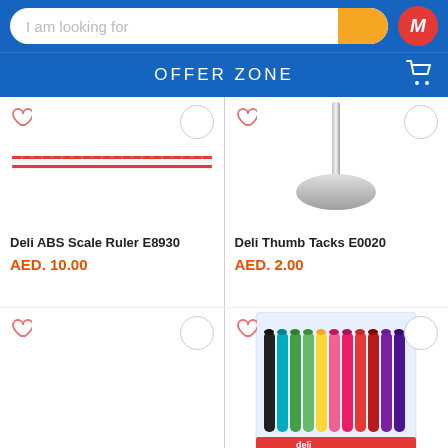I am looking for
OFFER ZONE
[Figure (photo): Deli ABS Scale Ruler E8930 - a red ruler on white background]
Deli ABS Scale Ruler E8930
AED. 10.00
[Figure (photo): Deli Thumb Tacks E0020 - metallic silver push pin/thumb tack on white background]
Deli Thumb Tacks E0020
AED. 2.00
[Figure (photo): Empty product card with heart icon (bottom left product)]
[Figure (photo): Deli colored markers set in packaging - multicolor felt tip pens]